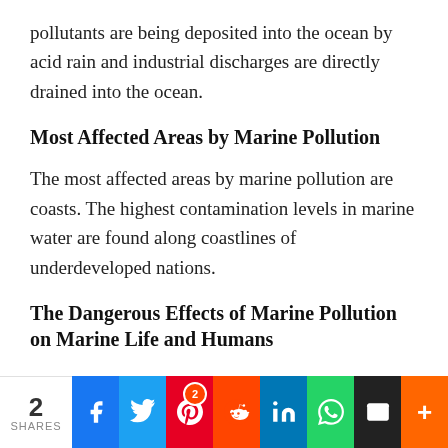pollutants are being deposited into the ocean by acid rain and industrial discharges are directly drained into the ocean.
Most Affected Areas by Marine Pollution
The most affected areas by marine pollution are coasts. The highest contamination levels in marine water are found along coastlines of underdeveloped nations.
The Dangerous Effects of Marine Pollution on Marine Life and Humans
[Figure (infographic): Social share bar at the bottom of the page showing share count of 2 and buttons for Facebook, Twitter, Pinterest (with badge showing 2), Reddit, LinkedIn, WhatsApp, Email, and More (+)]